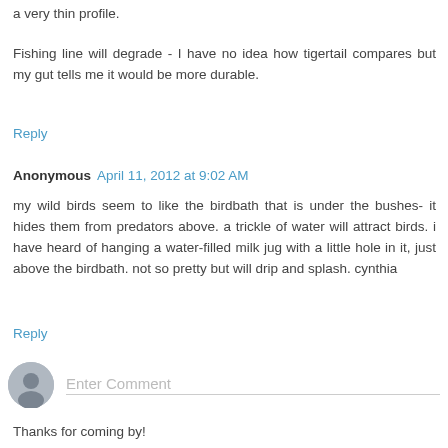a very thin profile.
Fishing line will degrade - I have no idea how tigertail compares but my gut tells me it would be more durable.
Reply
Anonymous  April 11, 2012 at 9:02 AM
my wild birds seem to like the birdbath that is under the bushes- it hides them from predators above. a trickle of water will attract birds. i have heard of hanging a water-filled milk jug with a little hole in it, just above the birdbath. not so pretty but will drip and splash. cynthia
Reply
[Figure (other): User avatar placeholder circle icon for comment input area]
Enter Comment
Thanks for coming by!